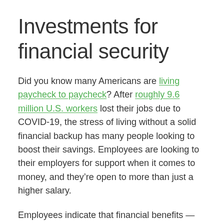Investments for financial security
Did you know many Americans are living paycheck to paycheck? After roughly 9.6 million U.S. workers lost their jobs due to COVID-19, the stress of living without a solid financial backup has many people looking to boost their savings. Employees are looking to their employers for support when it comes to money, and they're open to more than just a higher salary.
Employees indicate that financial benefits — like tools that automatically